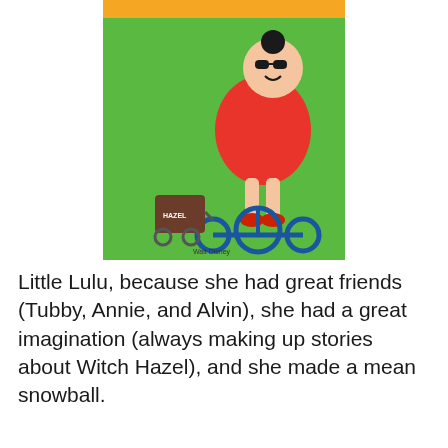[Figure (illustration): Book cover of Little Lulu comic: cartoon girl in red dress riding a tricycle on a green background, pulling a small cart]
Little Lulu, because she had great friends (Tubby, Annie, and Alvin), she had a great imagination (always making up stories about Witch Hazel), and she made a mean snowball.
[Figure (illustration): Book cover of 'The Secret of the Old Clock' by Carolyn Keene, showing a young woman in a forest scene with dramatic lighting]